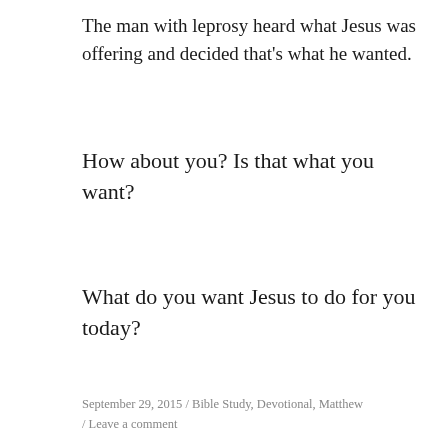The man with leprosy heard what Jesus was offering and decided that's what he wanted.
How about you? Is that what you want?
What do you want Jesus to do for you today?
September 29, 2015  /  Bible Study, Devotional, Matthew  /  Leave a comment